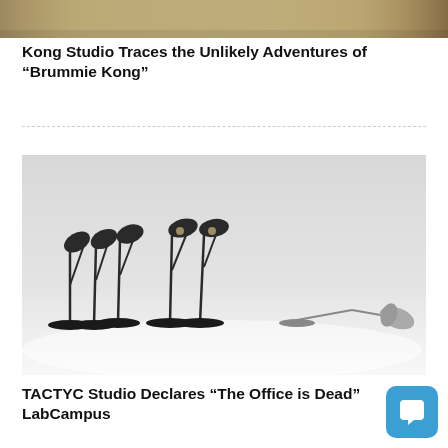[Figure (photo): Top portion of an image partially visible at the top of the page, showing a warm-toned corridor or street scene]
Kong Studio Traces the Unlikely Adventures of “Brummie Kong”
[Figure (photo): A group of black anglepoise/task lamps standing upright on a white surface, with one lamp lying flat on its side away from the group, against a light grey background]
TACTYC Studio Declares “The Office is Dead” LabCampus